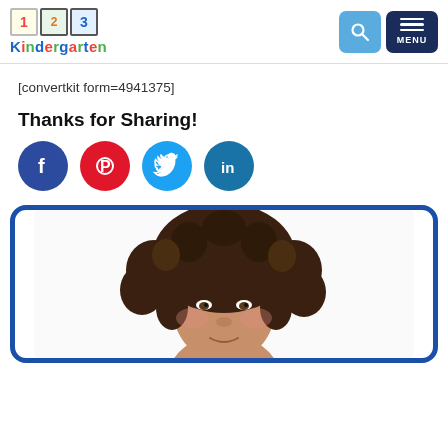123 Kindergarten — navigation header with search and menu buttons
[convertkit form=4941375]
Thanks for Sharing!
[Figure (infographic): Social sharing icons: Facebook (blue circle with f), Pinterest (red circle with P), Twitter (light blue circle with bird), LinkedIn (teal circle with 'in')]
[Figure (photo): Author photo in a blue-bordered rounded rectangle card. Shows a person with curly dark brown hair, partially cropped.]